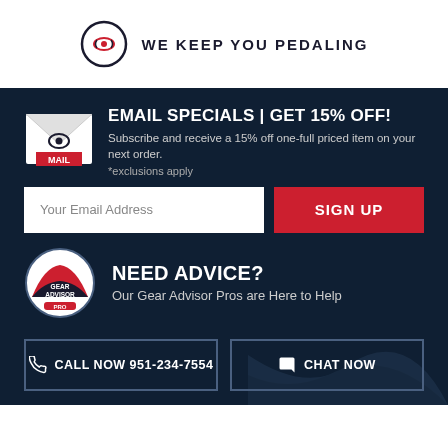[Figure (logo): Circular logo with bicycle chain link icon, white background]
WE KEEP YOU PEDALING
EMAIL SPECIALS | GET 15% OFF!
Subscribe and receive a 15% off one-full priced item on your next order.
*exclusions apply
Your Email Address
SIGN UP
[Figure (logo): Gear Advisor Pro circular badge logo]
NEED ADVICE?
Our Gear Advisor Pros are Here to Help
CALL NOW 951-234-7554
CHAT NOW